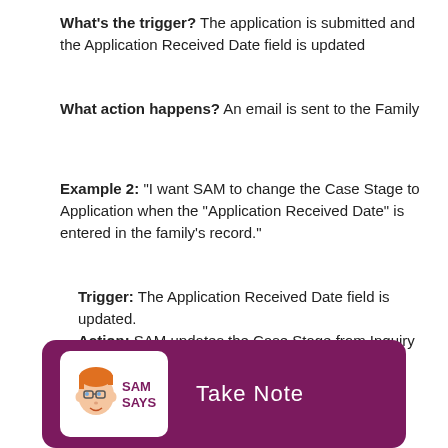What's the trigger? The application is submitted and the Application Received Date field is updated
What action happens? An email is sent to the Family
Example 2: "I want SAM to change the Case Stage to Application when the "Application Received Date" is entered in the family's record."
Trigger: The Application Received Date field is updated.
Action: SAM updates the Case Stage from Inquiry to Application.
[Figure (infographic): SAM SAYS Take Note banner with purple background, white rounded rectangle containing SAM character logo (cartoon face with glasses and orange hair) alongside text 'SAM SAYS', and 'Take Note' text in white on the right.]